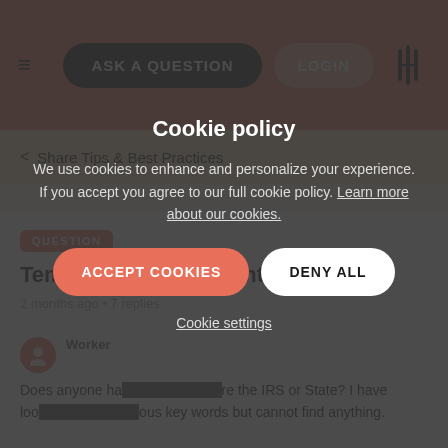ASK A QUESTION | LOGIN
< Share Tips & Best Practices
QUESTION
Template for Representation
2 months ago • 7 replies
Does anyone ha... fore the IRS or State? I have loo... ous key words but cannot find anything.
Cookie policy

We use cookies to enhance and personalize your experience. If you accept you agree to our full cookie policy. Learn more about our cookies.

ACCEPT COOKIES   DENY ALL

Cookie settings